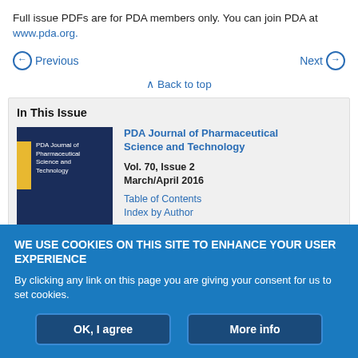Full issue PDFs are for PDA members only. You can join PDA at www.pda.org.
Previous  Next
Back to top
In This Issue
PDA Journal of Pharmaceutical Science and Technology
Vol. 70, Issue 2
March/April 2016
Table of Contents
Index by Author
WE USE COOKIES ON THIS SITE TO ENHANCE YOUR USER EXPERIENCE
By clicking any link on this page you are giving your consent for us to set cookies.